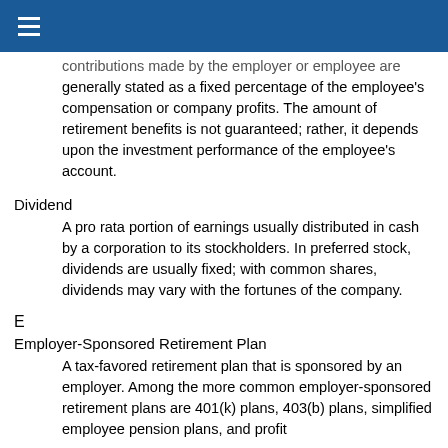contributions made by the employer or employee are generally stated as a fixed percentage of the employee's compensation or company profits. The amount of retirement benefits is not guaranteed; rather, it depends upon the investment performance of the employee's account.
Dividend
A pro rata portion of earnings usually distributed in cash by a corporation to its stockholders. In preferred stock, dividends are usually fixed; with common shares, dividends may vary with the fortunes of the company.
E
Employer-Sponsored Retirement Plan
A tax-favored retirement plan that is sponsored by an employer. Among the more common employer-sponsored retirement plans are 401(k) plans, 403(b) plans, simplified employee pension plans, and profit